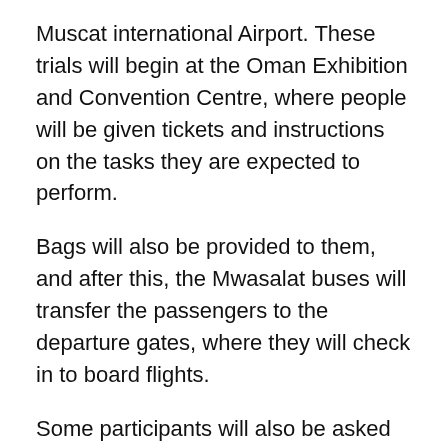Muscat international Airport. These trials will begin at the Oman Exhibition and Convention Centre, where people will be given tickets and instructions on the tasks they are expected to perform.
Bags will also be provided to them, and after this, the Mwasalat buses will transfer the passengers to the departure gates, where they will check in to board flights.
Some participants will also be asked to drive to the airport in their vehicles to check the airport parking facilities. The services provided for arrivals will also be carried out, depending on the task given to the participants.
“The participants will do everything a traveller does, apart from travelling in the flight. After the whole process is completed, they will be asked to fill a feedback form whe…